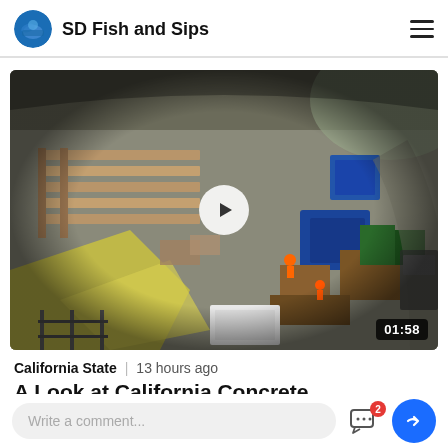SD Fish and Sips
[Figure (screenshot): Aerial/drone view of a construction site with workers, wooden framing, blue containers, and equipment visible from above. Video duration shown as 01:58 with a play button overlay.]
California State  |  13 hours ago
A Look at California Concrete
Write a comment...